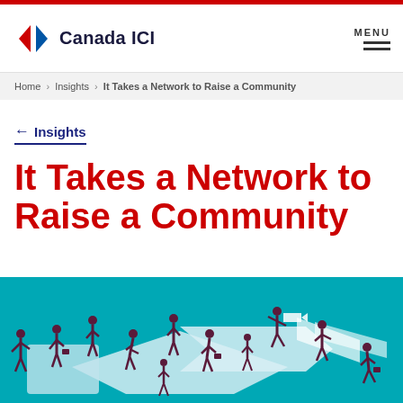Canada ICI
Home › Insights › It Takes a Network to Raise a Community
← Insights
It Takes a Network to Raise a Community
[Figure (illustration): Illustration of business people in dark navy/maroon standing on interconnected white puzzle/arrow pieces on a teal background, suggesting a network working together.]